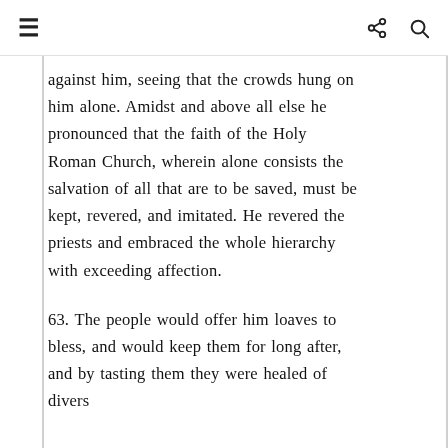≡   ⬤ 🔍
against him, seeing that the crowds hung on him alone. Amidst and above all else he pronounced that the faith of the Holy Roman Church, wherein alone consists the salvation of all that are to be saved, must be kept, revered, and imitated. He revered the priests and embraced the whole hierarchy with exceeding affection.
63. The people would offer him loaves to bless, and would keep them for long after, and by tasting them they were healed of divers